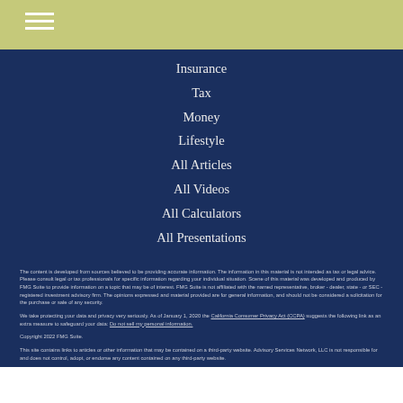Insurance
Tax
Money
Lifestyle
All Articles
All Videos
All Calculators
All Presentations
The content is developed from sources believed to be providing accurate information. The information in this material is not intended as tax or legal advice. Please consult legal or tax professionals for specific information regarding your individual situation. Some of this material was developed and produced by FMG Suite to provide information on a topic that may be of interest. FMG Suite is not affiliated with the named representative, broker - dealer, state - or SEC - registered investment advisory firm. The opinions expressed and material provided are for general information, and should not be considered a solicitation for the purchase or sale of any security.
We take protecting your data and privacy very seriously. As of January 1, 2020 the California Consumer Privacy Act (CCPA) suggests the following link as an extra measure to safeguard your data: Do not sell my personal information.
Copyright 2022 FMG Suite.
This site contains links to articles or other information that may be contained on a third-party website. Advisory Services Network, LLC is not responsible for and does not control, adopt, or endorse any content contained on any third-party website.